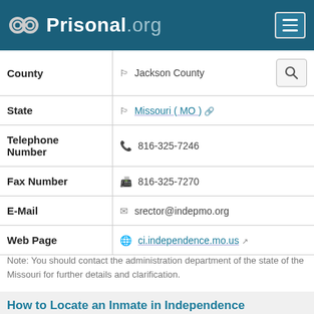Prisonal.org
| Field | Value |
| --- | --- |
| County | Jackson County |
| State | Missouri ( MO ) |
| Telephone Number | 816-325-7246 |
| Fax Number | 816-325-7270 |
| E-Mail | srector@indepmo.org |
| Web Page | ci.independence.mo.us |
Note: You should contact the administration department of the state of the Missouri for further details and clarification.
How to Locate an Inmate in Independence